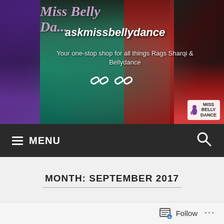[Figure (photo): Miss Belly Dance banner with multiple belly dancers wearing colorful costumes. Overlaid with the text 'Miss Belly Dance', 'askmissbellydance', and tagline 'Your one-stop shop for all things Rags Sharqi & Bellydance'. Miss Belly Dance logo in bottom-right corner.]
≡ MENU   🔍
MONTH: SEPTEMBER 2017
Follow ...